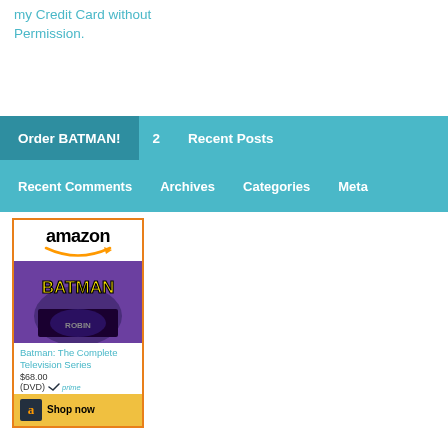my Credit Card without Permission.
Order BATMAN!  2  Recent Posts  Recent Comments  Archives  Categories  Meta
[Figure (other): Amazon widget showing Batman: The Complete Television Series DVD for $68.00 with Prime badge and Shop now button]